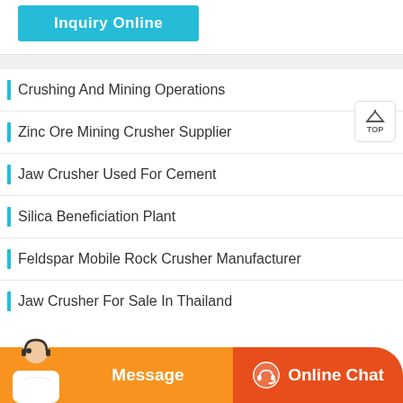[Figure (other): Teal/cyan 'Inquiry Online' button at top]
Crushing And Mining Operations
Zinc Ore Mining Crusher Supplier
Jaw Crusher Used For Cement
Silica Beneficiation Plant
Feldspar Mobile Rock Crusher Manufacturer
Jaw Crusher For Sale In Thailand
[Figure (other): Bottom bar with Message and Online Chat buttons, and a customer service person image]